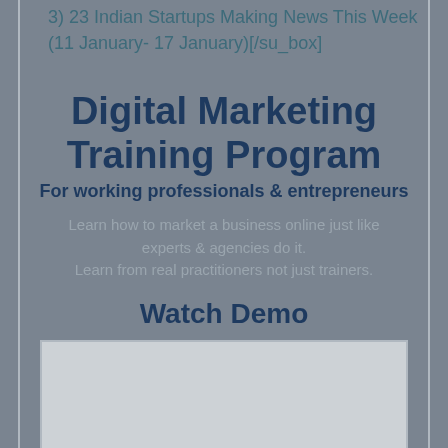3) 23 Indian Startups Making News This Week (11 January- 17 January)[/su_box]
Digital Marketing Training Program
For working professionals & entrepreneurs
Learn how to market a business online just like experts & agencies do it.
Learn from real practitioners not just trainers.
Watch Demo
[Figure (other): Video embed box placeholder (gray rectangle)]